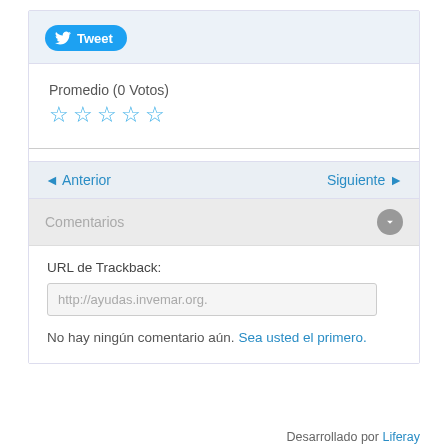[Figure (screenshot): Twitter Tweet button – blue rounded pill button with Twitter bird icon and 'Tweet' text]
Promedio (0 Votos)
[Figure (other): Five empty star rating icons in blue outline]
◄ Anterior    Siguiente ►
Comentarios
URL de Trackback:
http://ayudas.invemar.org.
No hay ningún comentario aún. Sea usted el primero.
Desarrollado por Liferay